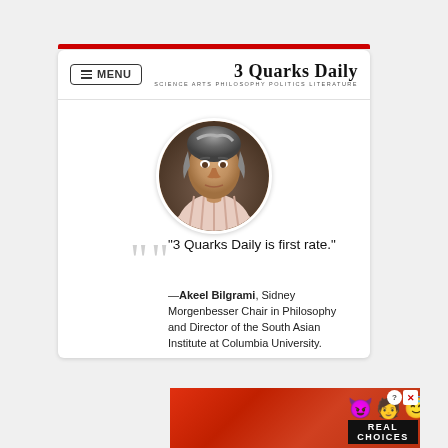3 Quarks Daily — SCIENCE ARTS PHILOSOPHY POLITICS LITERATURE
[Figure (photo): Circular portrait photo of Akeel Bilgrami, a middle-aged man with grey-streaked hair, wearing a striped shirt, against a blurred background.]
"3 Quarks Daily is first rate."
—Akeel Bilgrami, Sidney Morgenbesser Chair in Philosophy and Director of the South Asian Institute at Columbia University.
[Figure (infographic): BitLife advertisement banner with emoji characters and 'REAL CHOICES' text on red background.]